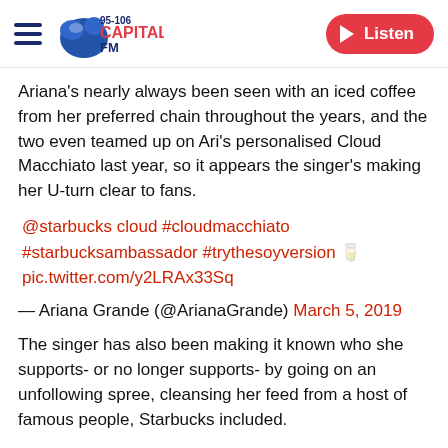Capital FM 95-106 | Listen
Ariana's nearly always been seen with an iced coffee from her preferred chain throughout the years, and the two even teamed up on Ari's personalised Cloud Macchiato last year, so it appears the singer's making her U-turn clear to fans.
@starbucks cloud #cloudmacchiato #starbucksambassador #trythesoyversion 🥛 pic.twitter.com/y2LRAx33Sq
— Ariana Grande (@ArianaGrande) March 5, 2019
The singer has also been making it known who she supports- or no longer supports- by going on an unfollowing spree, cleansing her feed from a host of famous people, Starbucks included.
Others she's reportedly unfollowed include Lea Michele after various anecdotes from former co-stars emerged